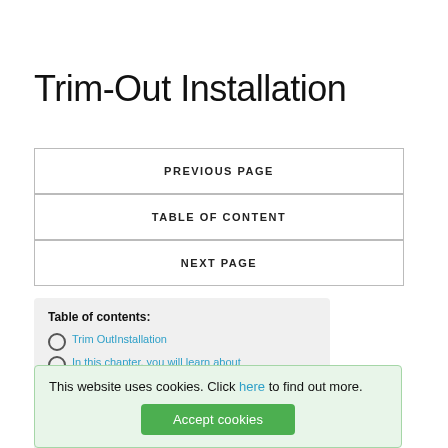Trim-Out Installation
PREVIOUS PAGE
TABLE OF CONTENT
NEXT PAGE
Table of contents:
Trim OutInstallation
In this chapter, you will learn about
Cable Termination
This website uses cookies. Click here to find out more. Accept cookies